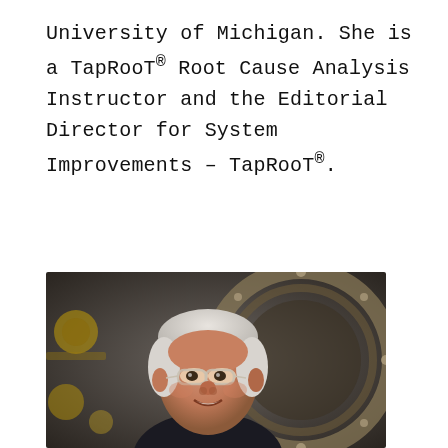University of Michigan. She is a TapRooT® Root Cause Analysis Instructor and the Editorial Director for System Improvements – TapRooT®.
[Figure (photo): Portrait photo of an older man with white hair and glasses, smiling, wearing a dark suit, with large industrial metallic machinery visible in the background.]